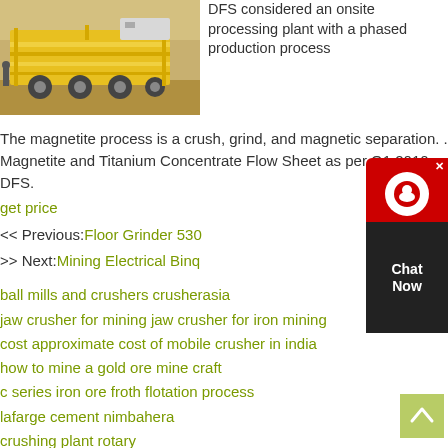[Figure (photo): Yellow mobile crushing/processing plant on a trailer, parked on a dirt surface with workers nearby]
DFS considered an onsite processing plant with a phased production process
The magnetite process is a crush, grind, and magnetic separation. . Magnetite and Titanium Concentrate Flow Sheet as per Q1 2010 DFS.
get price
<< Previous:Floor Grinder 530
>> Next:Mining Electrical Binq
ball mills and crushers crusherasia
jaw crusher for mining jaw crusher for iron mining
cost approximate cost of mobile crusher in india
how to mine a gold ore mine craft
c series iron ore froth flotation process
lafarge cement nimbahera
crushing plant rotary